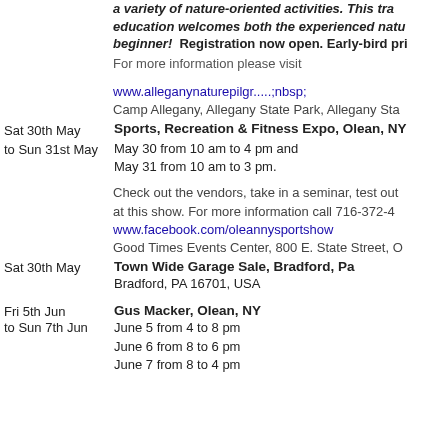a variety of nature-oriented activities. This trail education welcomes both the experienced natu beginner!  Registration now open. Early-bird pri
For more information please visit
www.alleganynaturepilgr.....;nbsp;
Camp Allegany, Allegany State Park, Allegany Sta
Sat 30th May to Sun 31st May — Sports, Recreation & Fitness Expo, Olean, NY. May 30 from 10 am to 4 pm and May 31 from 10 am to 3 pm.
Check out the vendors, take in a seminar, test out at this show. For more information call 716-372-4
www.facebook.com/oleannysportshow
Good Times Events Center, 800 E. State Street, O
Sat 30th May — Town Wide Garage Sale, Bradford, Pa. Bradford, PA 16701, USA
Fri 5th Jun to Sun 7th Jun — Gus Macker, Olean, NY. June 5 from 4 to 8 pm. June 6 from 8 to 6 pm. June 7 from 8 to 4 pm.